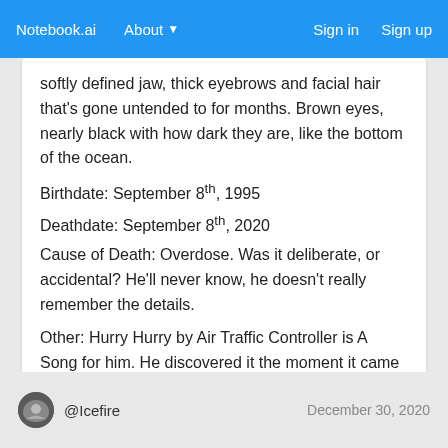Notebook.ai   About ▾   Sign in   Sign up
softly defined jaw, thick eyebrows and facial hair that's gone untended to for months. Brown eyes, nearly black with how dark they are, like the bottom of the ocean.
Birthdate: September 8th, 1995
Deathdate: September 8th, 2020
Cause of Death: Overdose. Was it deliberate, or accidental? He'll never know, he doesn't really remember the details.
Other: Hurry Hurry by Air Traffic Controller is A Song for him. He discovered it the moment it came out and it basically became his theme song. He listens to it when he's stressed.
@Icefire   December 30, 2020